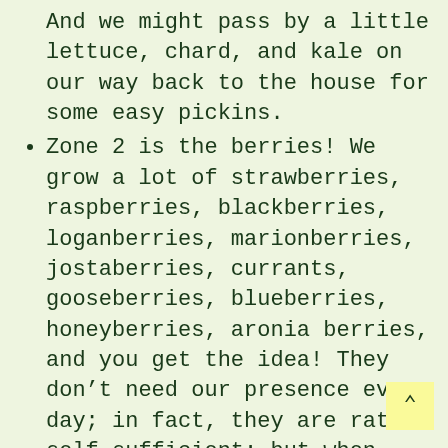And we might pass by a little lettuce, chard, and kale on our way back to the house for some easy pickins.
Zone 2 is the berries! We grow a lot of strawberries, raspberries, blackberries, loganberries, marionberries, jostaberries, currants, gooseberries, blueberries, honeyberries, aronia berries, and you get the idea! They don't need our presence every day; in fact, they are rather self-sufficient; but when they are ripe, we are out there daily. Zone 2 is nearby but low maintenance. We like that.
Zone 2 is an extension of the Zone 1 fun zone. Zone 2 takes us out to campouts in the far field throughout the summer, a place where we can